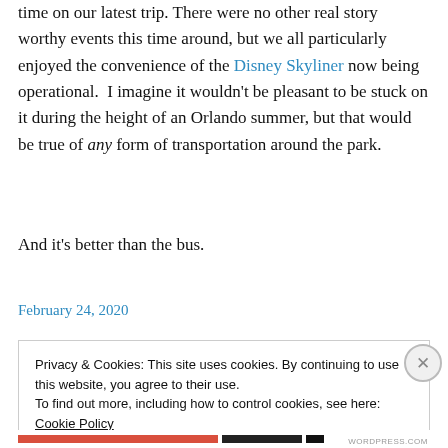time on our latest trip. There were no other real story worthy events this time around, but we all particularly enjoyed the convenience of the Disney Skyliner now being operational. I imagine it wouldn't be pleasant to be stuck on it during the height of an Orlando summer, but that would be true of any form of transportation around the park.
And it's better than the bus.
February 24, 2020
Privacy & Cookies: This site uses cookies. By continuing to use this website, you agree to their use. To find out more, including how to control cookies, see here: Cookie Policy